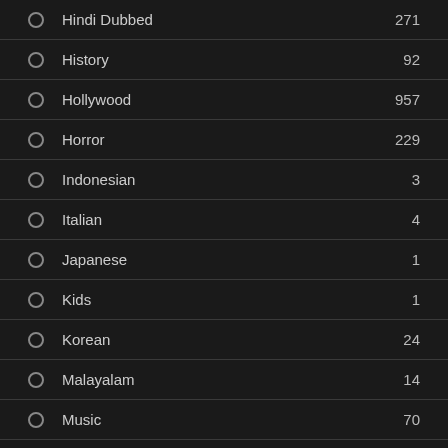Hindi Dubbed 271
History 92
Hollywood 957
Horror 229
Indonesian 3
Italian 4
Japanese 1
Kids 1
Korean 24
Malayalam 14
Music 70